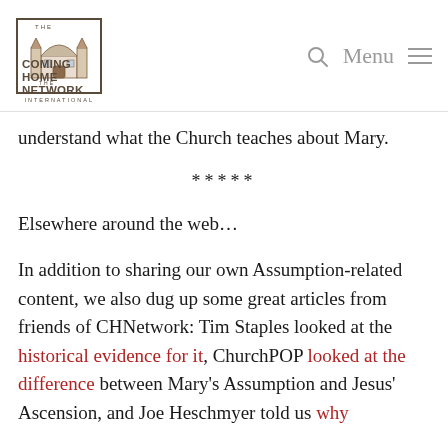The Coming Home Network International — Menu
understand what the Church teaches about Mary.
*****
Elsewhere around the web…
In addition to sharing our own Assumption-related content, we also dug up some great articles from friends of CHNetwork: Tim Staples looked at the historical evidence for it, ChurchPOP looked at the difference between Mary's Assumption and Jesus' Ascension, and Joe Heschmyer told us why